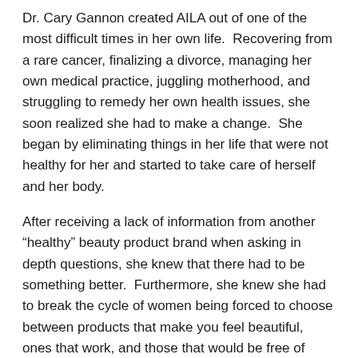Dr. Cary Gannon created AILA out of one of the most difficult times in her own life.  Recovering from a rare cancer, finalizing a divorce, managing her own medical practice, juggling motherhood, and struggling to remedy her own health issues, she soon realized she had to make a change.  She began by eliminating things in her life that were not healthy for her and started to take care of herself and her body.
After receiving a lack of information from another “healthy” beauty product brand when asking in depth questions, she knew that there had to be something better.  Furthermore, she knew she had to break the cycle of women being forced to choose between products that make you feel beautiful, ones that work, and those that would be free of harmful chemicals.
AILA was born as a nail polish brand that would break the cycle.  Their mission is to empower and equip women everywhere who are committed to their overall wellness.
AILA’s nail polish is long-lasting, began, paraben free, gluten free,